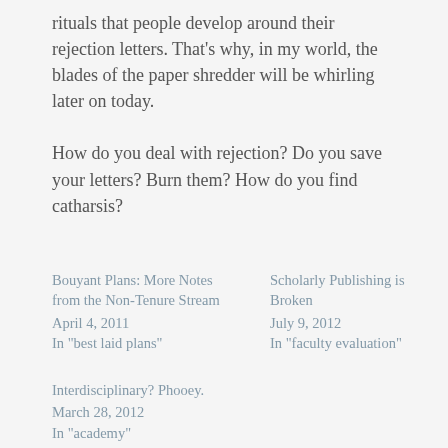rituals that people develop around their rejection letters. That's why, in my world, the blades of the paper shredder will be whirling later on today.
How do you deal with rejection? Do you save your letters? Burn them? How do you find catharsis?
Bouyant Plans: More Notes from the Non-Tenure Stream
April 4, 2011
In "best laid plans"
Scholarly Publishing is Broken
July 9, 2012
In "faculty evaluation"
Interdisciplinary? Phooey.
March 28, 2012
In "academy"